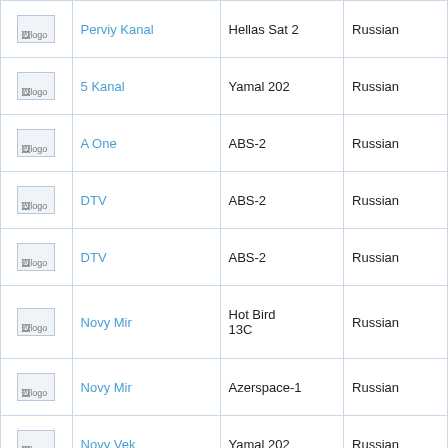|  |  | Satellite | Language |
| --- | --- | --- | --- |
| logo | Perviy Kanal | Hellas Sat 2 | Russian |
| logo | 5 Kanal | Yamal 202 | Russian |
| logo | A One | ABS-2 | Russian |
| logo | DTV | ABS-2 | Russian |
| logo | DTV | ABS-2 | Russian |
| logo | Novy Mir | Hot Bird 13C | Russian |
| logo | Novy Mir | Azerspace-1 | Russian |
| logo | Novy Vek | Yamal 202 | Russian |
| logo | Perviy Igrovoy | ABS-2 | Russian |
| logo | Perviy Kanal | Express AM44 | Russian |